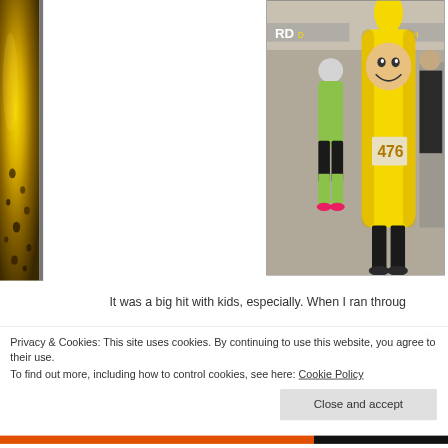[Figure (photo): Left edge: close-up photo of yellow bananas with dark spots, cropped to a narrow vertical strip on the left side of the page]
[Figure (photo): Right side: photo of a person dressed in a full yellow banana costume with race bib number 476 at what appears to be an outdoor running race/dash event. A person in a yellow-green outfit stands in the background. Race signage visible in the background.]
It was a big hit with kids, especially. When I ran throug
xc
h
Privacy & Cookies: This site uses cookies. By continuing to use this website, you agree to their use.
To find out more, including how to control cookies, see here: Cookie Policy
Close and accept